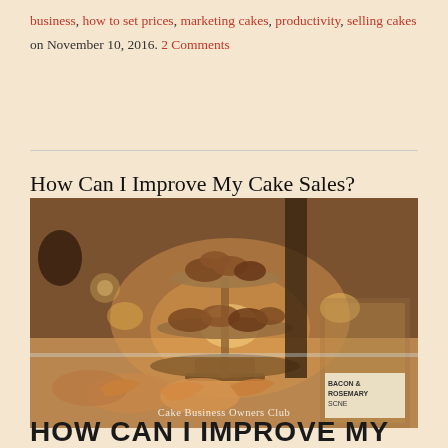business, how to set prices, marketing cakes, productivity, selling cakes on November 10, 2016. 2 Comments
[Figure (photo): Photo of a bakery display with pastries and croissants on a tiered stand, warm lighting, with 'Cake Business Owners Club' watermark. Title overlay reads 'How Can I Improve My Cake Sales?']
HOW CAN I IMPROVE MY